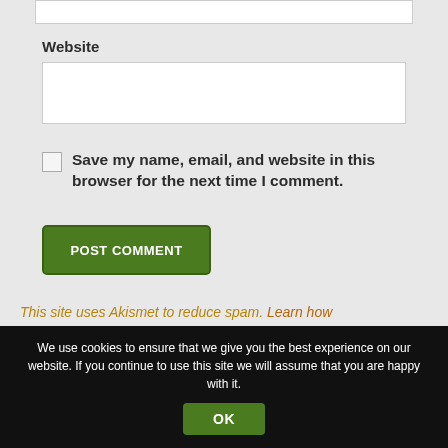Website
Save my name, email, and website in this browser for the next time I comment.
POST COMMENT
This site uses Akismet to reduce spam. Learn how
We use cookies to ensure that we give you the best experience on our website. If you continue to use this site we will assume that you are happy with it.
OK